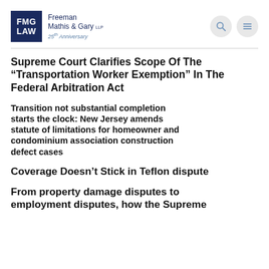[Figure (logo): FMG Law logo — Freeman Mathis & Gary LLP, 25th Anniversary]
Supreme Court Clarifies Scope Of The “Transportation Worker Exemption” In The Federal Arbitration Act
Transition not substantial completion starts the clock: New Jersey amends statute of limitations for homeowner and condominium association construction defect cases
Coverage Doesn’t Stick in Teflon dispute
From property damage disputes to employment disputes, how the Supreme